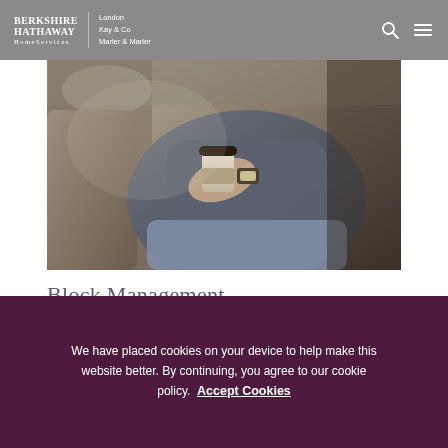BERKSHIRE HATHAWAY HomeServices | London Kay & Co Marler & Marler
[Figure (photo): Person sitting in a car holding a takeaway coffee cup, wearing a watch and casual jacket, interior of car visible]
Block Management
We have placed cookies on your device to help make this website better. By continuing, you agree to our cookie policy. Accept Cookies